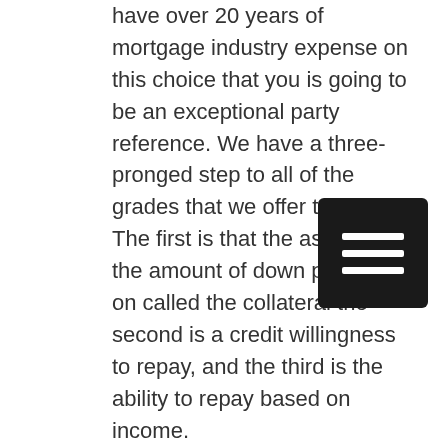have over 20 years of mortgage industry expense on this choice that you is going to be an exceptional party reference. We have a three-pronged step to all of the grades that we offer to you. The first is that the asset in the amount of down payment on called the collateral the second is a credit willingness to repay, and the third is the ability to repay based on income.
We know that everybody has a different financial situation, and that is why we always work hard to provide you satisfactory space that is going to provide you the most exceptional results in industry original time. We are going to go the extra mile to provide the most exceptional results in industry, and we determined by them that we are in